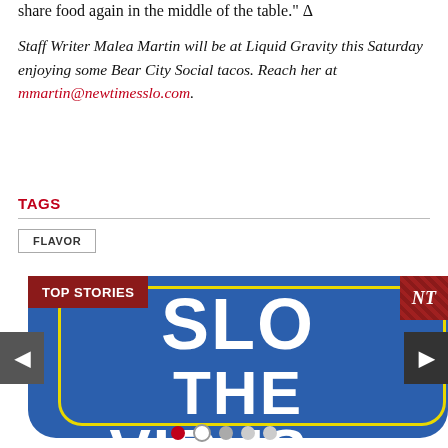share food again in the middle of the table." Δ
Staff Writer Malea Martin will be at Liquid Gravity this Saturday enjoying some Bear City Social tacos. Reach her at mmartin@newtimesslo.com.
TAGS
FLAVOR
[Figure (screenshot): TOP STORIES carousel card showing blue rounded rectangle with yellow border, large white bold text reading SLO THE VIRUS, NT logo badge top right, navigation arrows left and right, pagination dots at bottom]